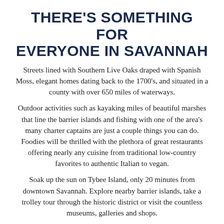THERE'S SOMETHING FOR EVERYONE IN SAVANNAH
Streets lined with Southern Live Oaks draped with Spanish Moss, elegant homes dating back to the 1700's, and situated in a county with over 650 miles of waterways.
Outdoor activities such as kayaking miles of beautiful marshes that line the barrier islands and fishing with one of the area's many charter captains are just a couple things you can do. Foodies will be thrilled with the plethora of great restaurants offering nearly any cuisine from traditional low-country favorites to authentic Italian to vegan.
Soak up the sun on Tybee Island, only 20 minutes from downtown Savannah. Explore nearby barrier islands, take a trolley tour through the historic district or visit the countless museums, galleries and shops.